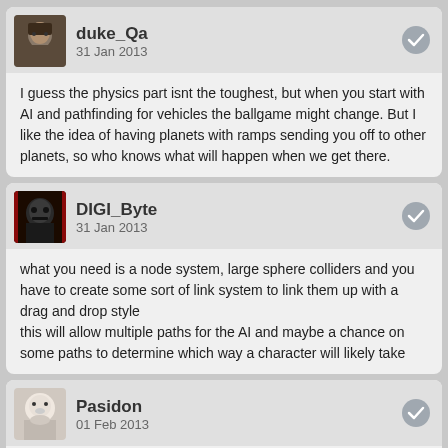duke_Qa
31 Jan 2013
I guess the physics part isnt the toughest, but when you start with AI and pathfinding for vehicles the ballgame might change. But I like the idea of having planets with ramps sending you off to other planets, so who knows what will happen when we get there.
DIGI_Byte
31 Jan 2013
what you need is a node system, large sphere colliders and you have to create some sort of link system to link them up with a drag and drop style
this will allow multiple paths for the AI and maybe a chance on some paths to determine which way a character will likely take
Pasidon
01 Feb 2013
How close are we to actually having a fully functional racer anyway?
DIGI_Byte